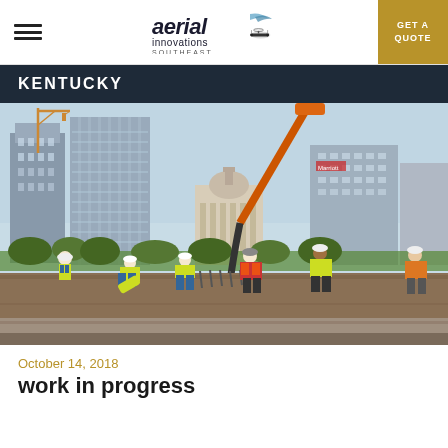Aerial Innovations Southeast — GET A QUOTE
KENTUCKY
[Figure (photo): Construction workers in yellow safety vests and hard hats working at a construction site with a concrete pumping machine, city skyline with buildings and a domed classical building in the background, cranes visible.]
October 14, 2018
work in progress